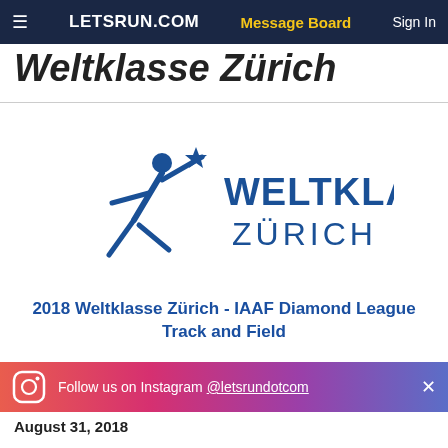LETSRUN.COM | Message Board | Sign In
Weltklasse Zürich
[Figure (logo): Weltklasse Zürich logo — blue stylized running figure with text WELTKLASSE ZÜRICH in blue]
2018 Weltklasse Zürich - IAAF Diamond League Track and Field
View LetsRun.com Event Coverage
Follow us on Instagram @letsrundotcom
August 31, 2018